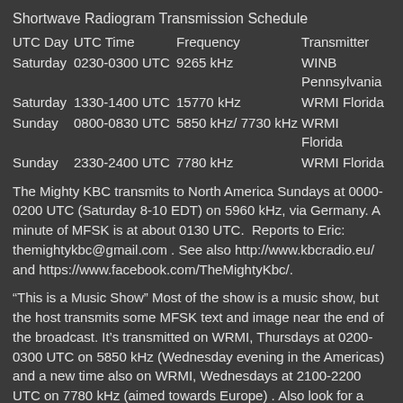Shortwave Radiogram Transmission Schedule
| UTC Day | UTC Time | Frequency | Transmitter |
| --- | --- | --- | --- |
| Saturday | 0230-0300 UTC | 9265 kHz | WINB Pennsylvania |
| Saturday | 1330-1400 UTC | 15770 kHz | WRMI Florida |
| Sunday | 0800-0830 UTC | 5850 kHz/ 7730 kHz | WRMI Florida |
| Sunday | 2330-2400 UTC | 7780 kHz | WRMI Florida |
The Mighty KBC transmits to North America Sundays at 0000-0200 UTC (Saturday 8-10 EDT) on 5960 kHz, via Germany. A minute of MFSK is at about 0130 UTC.  Reports to Eric: themightykbc@gmail.com . See also http://www.kbcradio.eu/ and https://www.facebook.com/TheMightyKbc/.
“This is a Music Show” Most of the show is a music show, but the host transmits some MFSK text and image near the end of the broadcast. It’s transmitted on WRMI, Thursdays at 0200-0300 UTC on 5850 kHz (Wednesday evening in the Americas) and a new time also on WRMI, Wednesdays at 2100-2200 UTC on 7780 kHz (aimed towards Europe) . Also look for a waterfall ID at the beginning of the show.